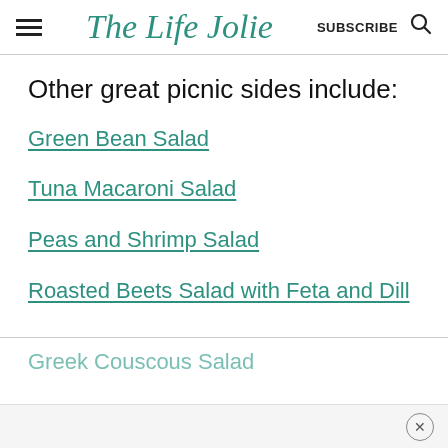The Life Jolie | SUBSCRIBE
Other great picnic sides include:
Green Bean Salad
Tuna Macaroni Salad
Peas and Shrimp Salad
Roasted Beets Salad with Feta and Dill
Greek Couscous Salad